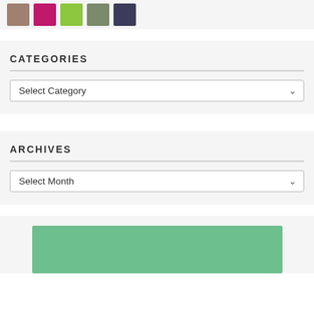[Figure (photo): Top strip with five thumbnail images: a woman photo, a pink pixel art icon, a green pixel art icon, a person photo, and a dark photo]
CATEGORIES
Select Category
ARCHIVES
Select Month
[Figure (illustration): Green rectangle block at bottom of page]